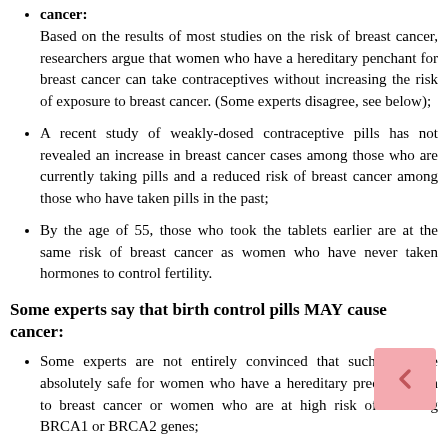Based on the results of most studies on the risk of breast cancer, researchers argue that women who have a hereditary penchant for breast cancer can take contraceptives without increasing the risk of exposure to breast cancer. (Some experts disagree, see below);
A recent study of weakly-dosed contraceptive pills has not revealed an increase in breast cancer cases among those who are currently taking pills and a reduced risk of breast cancer among those who have taken pills in the past;
By the age of 55, those who took the tablets earlier are at the same risk of breast cancer as women who have never taken hormones to control fertility.
Some experts say that birth control pills MAY cause cancer:
Some experts are not entirely convinced that such pills are absolutely safe for women who have a hereditary predisposition to breast cancer or women who are at high risk of mutating BRCA1 or BRCA2 genes;
Some past studies have found cases of breast cancer, the number of which is slightly above average among women